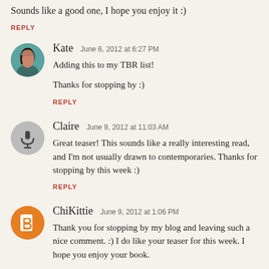Sounds like a good one, I hope you enjoy it :)
REPLY
Kate  June 6, 2012 at 6:27 PM
Adding this to my TBR list!
Thanks for stopping by :)
REPLY
Claire  June 9, 2012 at 11:03 AM
Great teaser! This sounds like a really interesting read, and I'm not usually drawn to contemporaries. Thanks for stopping by this week :)
REPLY
ChiKittie  June 9, 2012 at 1:06 PM
Thank you for stopping by my blog and leaving such a nice comment. :) I do like your teaser for this week. I hope you enjoy your book.